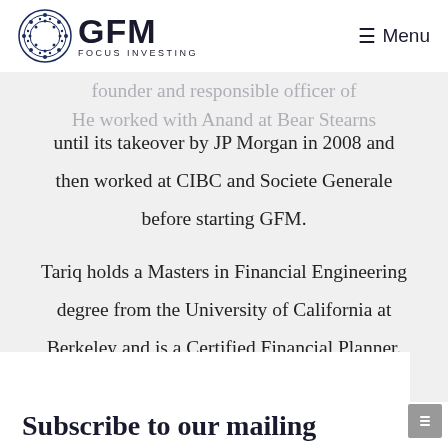GFM FOCUS INVESTING — Menu
until its takeover by JP Morgan in 2008 and then worked at CIBC and Societe Generale before starting GFM.

Tariq holds a Masters in Financial Engineering degree from the University of California at Berkeley and is a Certified Financial Planner.
Subscribe to our mailing